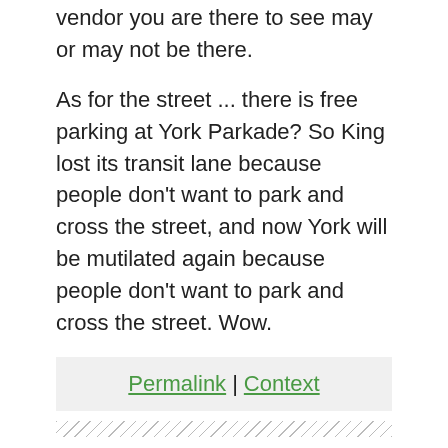vendor you are there to see may or may not be there.
As for the street ... there is free parking at York Parkade? So King lost its transit lane because people don't want to park and cross the street, and now York will be mutilated again because people don't want to park and cross the street. Wow.
Permalink | Context
By jason (registered) | Posted February 18, 2015 at 17:29:21 in reply to Comment 109283
Could it possibly ever sink in at city